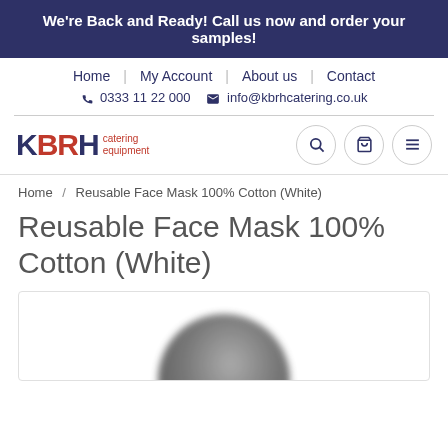We're Back and Ready! Call us now and order your samples!
Home | My Account | About us | Contact
0333 11 22 000  info@kbrhcatering.co.uk
[Figure (logo): KBRH Catering Equipment logo with search, cart, and menu icon buttons]
Home / Reusable Face Mask 100% Cotton (White)
Reusable Face Mask 100% Cotton (White)
[Figure (photo): Partial view of a white/grey reusable face mask, shown from below as a dark circular shape emerging from bottom of frame]